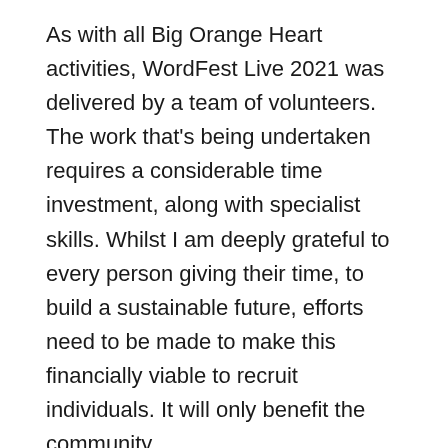As with all Big Orange Heart activities, WordFest Live 2021 was delivered by a team of volunteers. The work that's being undertaken requires a considerable time investment, along with specialist skills. Whilst I am deeply grateful to every person giving their time, to build a sustainable future, efforts need to be made to make this financially viable to recruit individuals. It will only benefit the community.
Along with the efforts to build a more financially stable future; all funds raised